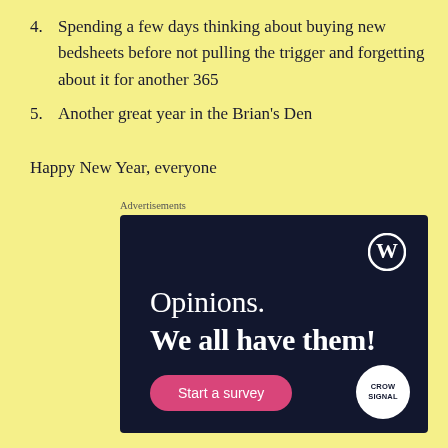4. Spending a few days thinking about buying new bedsheets before not pulling the trigger and forgetting about it for another 365
5. Another great year in the Brian's Den
Happy New Year, everyone
Advertisements
[Figure (other): WordPress advertisement banner with dark navy background showing 'Opinions. We all have them!' with a Start a survey button and CrowdSignal logo]